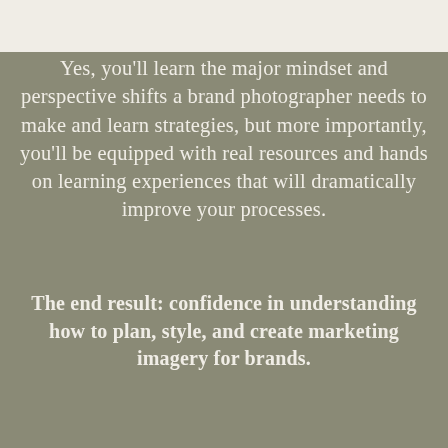Yes, you'll learn the major mindset and perspective shifts a brand photographer needs to make and learn strategies, but more importantly, you'll be equipped with real resources and hands on learning experiences that will dramatically improve your processes.
The end result: confidence in understanding how to plan, style, and create marketing imagery for brands.